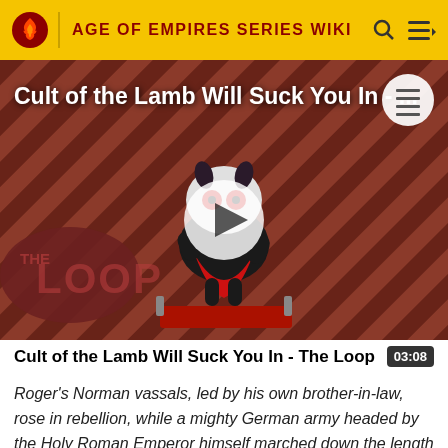AGE OF EMPIRES SERIES WIKI
[Figure (screenshot): Video thumbnail for 'Cult of the Lamb Will Suck You In - The Loop' featuring a cartoon lamb character on a striped red/dark background with THE LOOP logo overlay and a play button in the center]
Cult of the Lamb Will Suck You In - The Loop
Roger's Norman vassals, led by his own brother-in-law, rose in rebellion, while a mighty German army headed by the Holy Roman Emperor himself marched down the length of Italy."